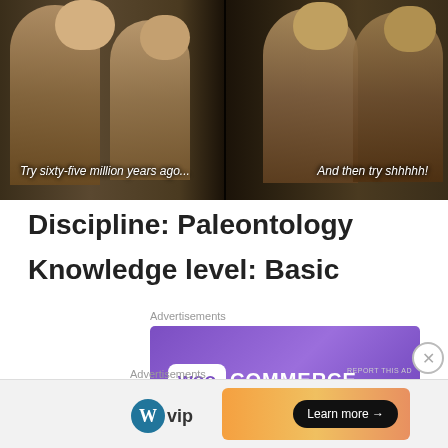[Figure (screenshot): Screenshot from TV show Friends with subtitle text 'Try sixty-five million years ago...' and 'And then try shhhhh!' showing multiple characters in a kitchen scene]
Discipline: Paleontology
Knowledge level: Basic
Advertisements
[Figure (logo): WooCommerce advertisement banner with purple gradient background, green triangle bottom-left, blue triangle bottom-right, and WooCommerce logo in white]
Advertisements
[Figure (logo): WordPress VIP logo on the left and a Learn more button on an orange gradient banner advertisement]